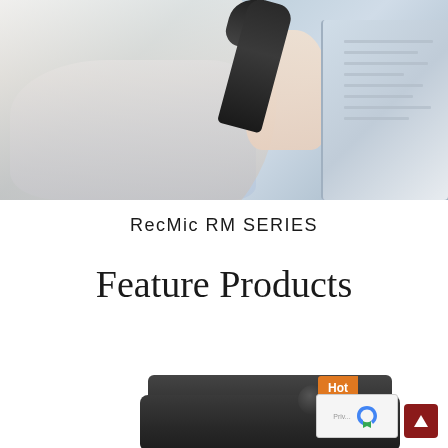[Figure (photo): A woman in a light blue shirt holding a Olympus RecMic dictation microphone, viewed from behind/side, with a computer monitor visible in the background]
RecMic RM SERIES
Feature Products
[Figure (photo): Bottom portion of a black electronic device (audio recorder/dictation device) with control knobs, partially visible at the bottom of the page]